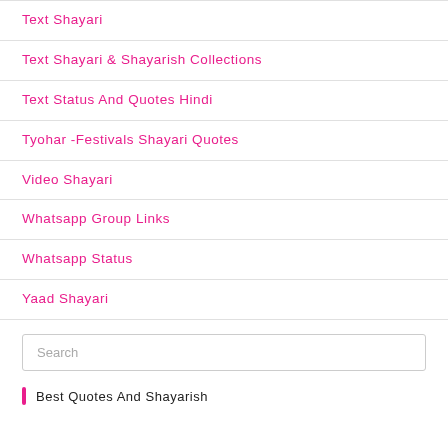Text Shayari
Text Shayari & Shayarish Collections
Text Status And Quotes Hindi
Tyohar -Festivals Shayari Quotes
Video Shayari
Whatsapp Group Links
Whatsapp Status
Yaad Shayari
Search
Best Quotes And Shayarish